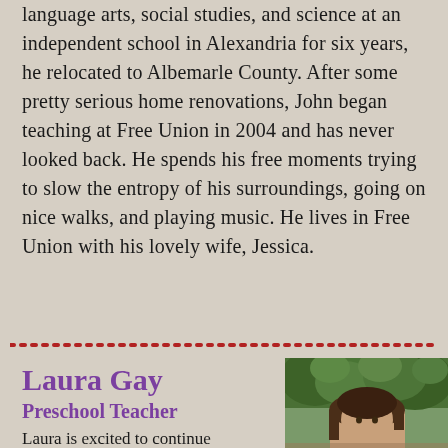language arts, social studies, and science at an independent school in Alexandria for six years, he relocated to Albemarle County. After some pretty serious home renovations, John began teaching at Free Union in 2004 and has never looked back. He spends his free moments trying to slow the entropy of his surroundings, going on nice walks, and playing music. He lives in Free Union with his lovely wife, Jessica.
Laura Gay
Preschool Teacher
[Figure (photo): Portrait photo of Laura Gay outdoors with trees/foliage in background, showing a woman with brown hair]
Laura is excited to continue